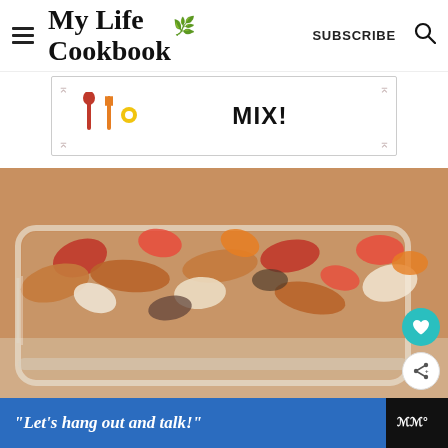My Life Cookbook — SUBSCRIBE
[Figure (other): Advertisement banner with utensil icons and bold text MIX!]
[Figure (photo): Close-up photo of a glass baking dish filled with roasted sausage, peppers, and onions]
“Let’s hang out and talk!”